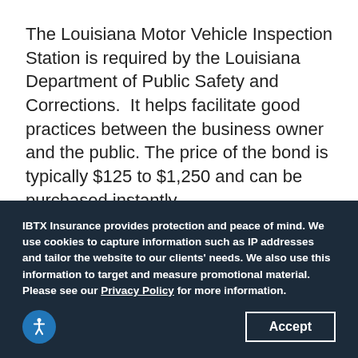The Louisiana Motor Vehicle Inspection Station is required by the Louisiana Department of Public Safety and Corrections.  It helps facilitate good practices between the business owner and the public. The price of the bond is typically $125 to $1,250 and can be purchased instantly.
Businesses are required to file a $5,000 bond with the Louisiana Department of Public Safety
IBTX Insurance provides protection and peace of mind. We use cookies to capture information such as IP addresses and tailor the website to our clients' needs. We also use this information to target and measure promotional material. Please see our Privacy Policy for more information.